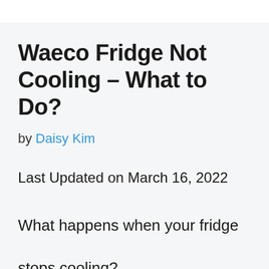Waeco Fridge Not Cooling – What to Do?
by Daisy Kim
Last Updated on March 16, 2022
What happens when your fridge stops cooling?